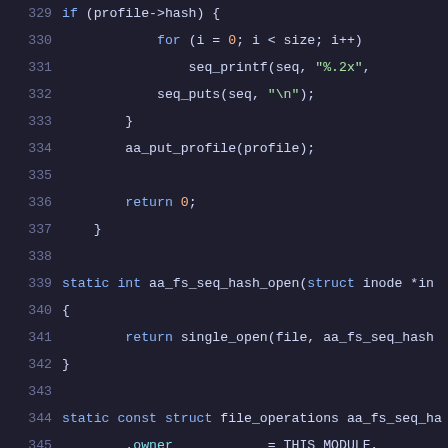Code listing lines 329-350: C source code showing aa_fs_seq_hash functions including for loop, seq_printf, seq_puts, aa_put_profile, return, static int aa_fs_seq_hash_open, single_open, static const struct file_operations aa_fs_seq_ha, with fields .owner, .open, .read, .llseek, .release